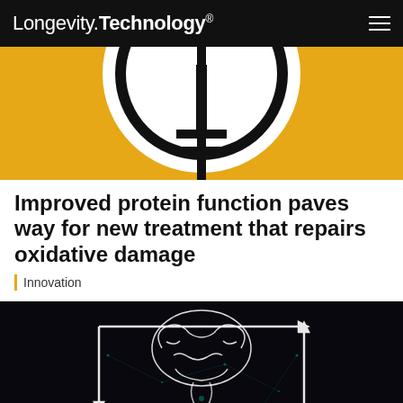Longevity.Technology®
[Figure (illustration): Yellow and white abstract header image with a clock/target circle symbol on a yellow background]
Improved protein function paves way for new treatment that repairs oxidative damage
Innovation
[Figure (illustration): Dark background illustration with a brain connected by white arrows to two DNA double helix strands on either side, with teal particle network and an intestine/gut symbol at the bottom]